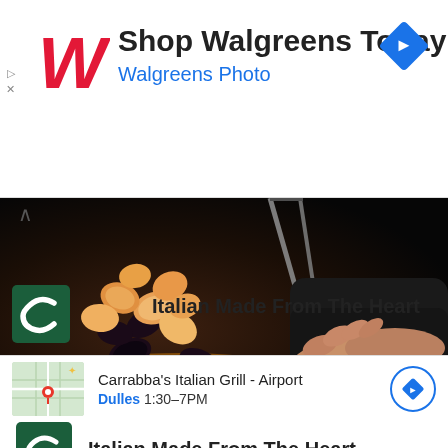[Figure (infographic): Walgreens advertisement banner with stylized red cursive W logo, text 'Shop Walgreens Today' and 'Walgreens Photo' in blue, and a blue navigation diamond icon on the right. Small play and X controls on the left edge.]
[Figure (photo): A dramatic food photography shot of a seafood pasta dish — spaghetti with mussels, shrimp, and scallops being tossed in a pan by a chef's hands holding tongs, dark background, action shot with ingredients in mid-air.]
[Figure (infographic): Carrabba's Italian Grill restaurant listing with dark green square logo showing stylized white C letter and bold text 'Italian Made From The Heart']
[Figure (infographic): Carrabba's Italian Grill - Airport location listing with a map thumbnail showing a red pin marker, text 'Dulles 1:30-7PM' and a blue circle navigation icon on the right.]